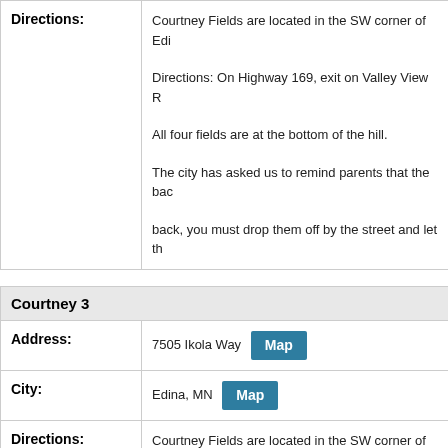Directions:
Courtney Fields are located in the SW corner of Edi...
Directions: On Highway 169, exit on Valley View R...
All four fields are at the bottom of the hill.
The city has asked us to remind parents that the bac... back, you must drop them off by the street and let th...
Courtney 3
Address:
7505 Ikola Way Map
City:
Edina, MN Map
Directions:
Courtney Fields are located in the SW corner of Edi...
Directions: On Highway 169, exit on Valley View R...
All four fields are at the bottom of the hill.
The city has asked us to remind parents that the bac...